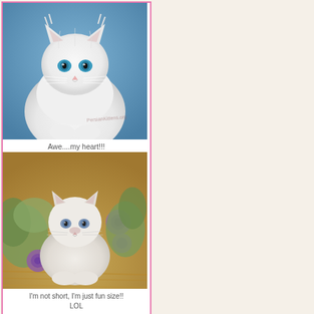[Figure (photo): White fluffy Persian kitten with blue eyes sitting against a blue background]
Awe....my heart!!!
[Figure (photo): Small fluffy light-colored Persian kitten sitting among purple roses and green foliage on a wooden surface]
I'm not short, I'm just fun size!! LOL